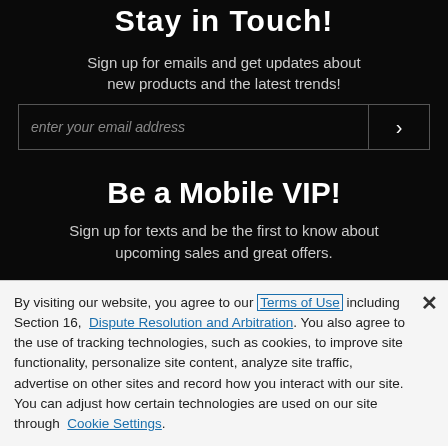Stay in Touch!
Sign up for emails and get updates about new products and the latest trends!
[Figure (screenshot): Email input form with text field placeholder 'enter your email address' and a submit arrow button]
Be a Mobile VIP!
Sign up for texts and be the first to know about upcoming sales and great offers.
By visiting our website, you agree to our Terms of Use including Section 16, Dispute Resolution and Arbitration. You also agree to the use of tracking technologies, such as cookies, to improve site functionality, personalize site content, analyze site traffic, advertise on other sites and record how you interact with our site. You can adjust how certain technologies are used on our site through Cookie Settings.